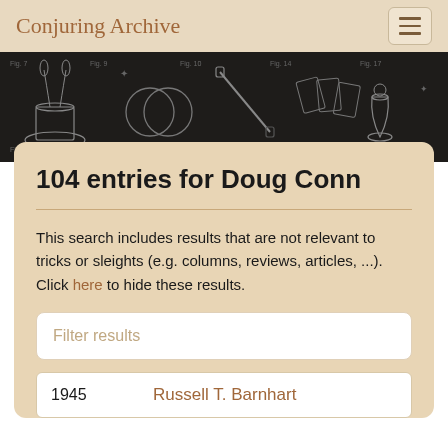Conjuring Archive
[Figure (illustration): Dark banner with white line drawings of magic-related apparatus and hat shapes on a dark background]
104 entries for Doug Conn
This search includes results that are not relevant to tricks or sleights (e.g. columns, reviews, articles, ...). Click here to hide these results.
Filter results
| Year | Author |
| --- | --- |
| 1945 | Russell T. Barnhart |